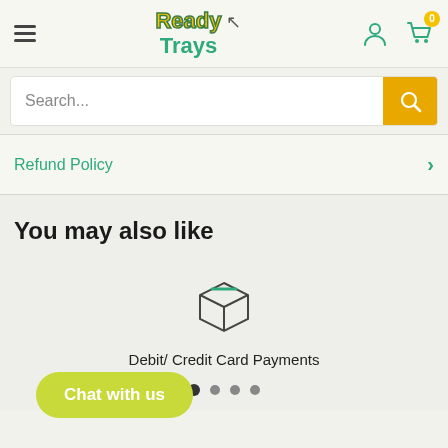ReadyTrays — navigation header with hamburger menu, logo, user icon, and cart (0)
Search...
Refund Policy
You may also like
[Figure (illustration): Box/package icon (line drawing of a 3D cube/box)]
Debit/ Credit Card Payments
Chat with us